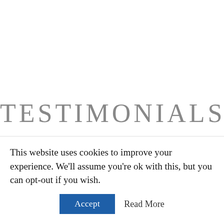TESTIMONIALS
This website uses cookies to improve your experience. We'll assume you're ok with this, but you can opt-out if you wish.
Accept   Read More